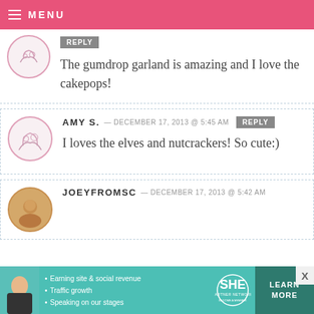MENU
The gumdrop garland is amazing and I love the cakepops!
AMY S. — DECEMBER 17, 2013 @ 5:45 AM REPLY
I loves the elves and nutcrackers! So cute:)
JOEYFROMSC — DECEMBER 17, 2013 @ 5:42 AM